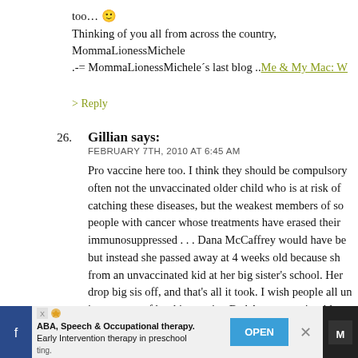too... :) Thinking of you all from across the country, MommaLionessMichele .-= MommaLionessMichele's last blog ..Me & My Mac: W
> Reply
26. Gillian says: FEBRUARY 7TH, 2010 AT 6:45 AM
Pro vaccine here too. I think they should be compulsory often not the unvaccinated older child who is at risk of catching these diseases, but the weakest members of so people with cancer whose treatments have erased their immunosuppressed . . . Dana McCaffrey would have be but instead she passed away at 4 weeks old because sh from an unvaccinated kid at her big sister's school. Her drop big sis off, and that's all it took. I wish people all un importance of herd immunity. Bad Astronomy is a blog this often- he provides lots of science based info. Thank
ABA, Speech & Occupational therapy. Early Intervention therapy in preschool ting.